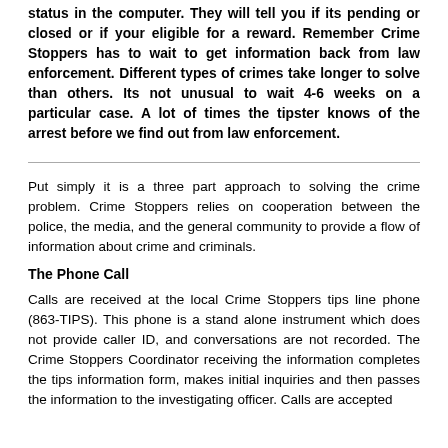status in the computer. They will tell you if its pending or closed or if your eligible for a reward. Remember Crime Stoppers has to wait to get information back from law enforcement. Different types of crimes take longer to solve than others. Its not unusual to wait 4-6 weeks on a particular case. A lot of times the tipster knows of the arrest before we find out from law enforcement.
Put simply it is a three part approach to solving the crime problem. Crime Stoppers relies on cooperation between the police, the media, and the general community to provide a flow of information about crime and criminals.
The Phone Call
Calls are received at the local Crime Stoppers tips line phone (863-TIPS). This phone is a stand alone instrument which does not provide caller ID, and conversations are not recorded. The Crime Stoppers Coordinator receiving the information completes the tips information form, makes initial inquiries and then passes the information to the investigating officer. Calls are accepted any time, providing recompense for information unless "Cri...